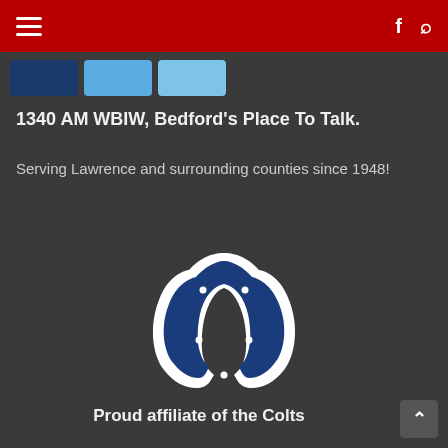Navigation header with hamburger menu, Facebook icon, and search icon on red background
[Figure (other): Three tab buttons: dark blue, light blue, lighter blue]
1340 AM WBIW, Bedford's Place To Talk.
Serving Lawrence and surrounding counties since 1948!
[Figure (logo): Indianapolis Colts horseshoe logo in blue with white outline]
Proud affiliate of the Colts